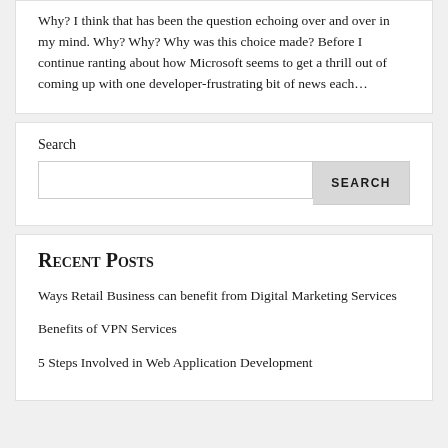Why? I think that has been the question echoing over and over in my mind. Why? Why? Why was this choice made? Before I continue ranting about how Microsoft seems to get a thrill out of coming up with one developer-frustrating bit of news each…
Search
Recent Posts
Ways Retail Business can benefit from Digital Marketing Services
Benefits of VPN Services
5 Steps Involved in Web Application Development